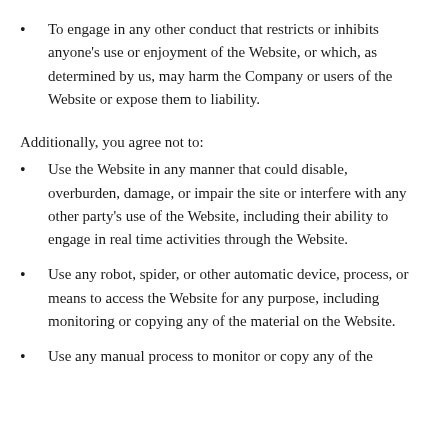To engage in any other conduct that restricts or inhibits anyone's use or enjoyment of the Website, or which, as determined by us, may harm the Company or users of the Website or expose them to liability.
Additionally, you agree not to:
Use the Website in any manner that could disable, overburden, damage, or impair the site or interfere with any other party's use of the Website, including their ability to engage in real time activities through the Website.
Use any robot, spider, or other automatic device, process, or means to access the Website for any purpose, including monitoring or copying any of the material on the Website.
Use any manual process to monitor or copy any of the